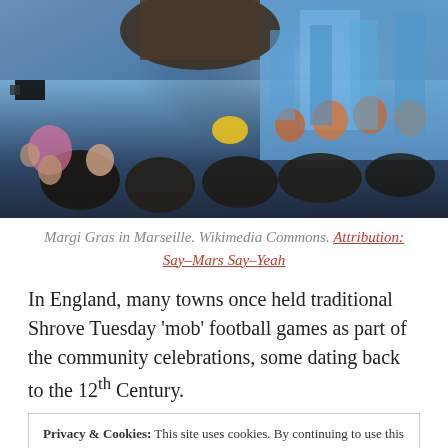[Figure (photo): Crowd scene at Mardi Gras in Marseille, people in blue costumes holding masks, street celebration]
Margi Gras in Marseille. Wikimedia Commons. Attribution: Say–Mars Say–Yeah
In England, many towns once held traditional Shrove Tuesday 'mob' football games as part of the community celebrations, some dating back to the 12th Century.
Privacy & Cookies: This site uses cookies. By continuing to use this website, you agree to their use.
To find out more, including how to control cookies, see here:
Cookie Policy
[Close and accept]
The tradition of 'pancake races' is said to have